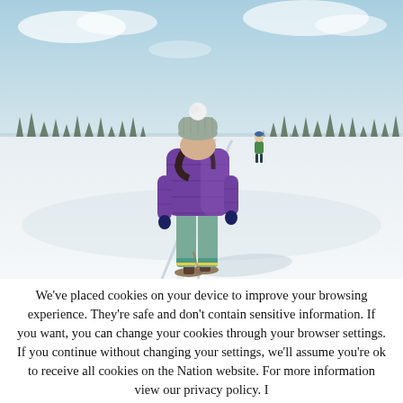[Figure (photo): A person wearing a purple puffer jacket, knit beanie with pompom, and patterned pants with colorful stripes at the hem, walking away on a snowshoeing trail across a flat snowy landscape. A second person is visible further down the trail. Sparse boreal spruce trees line the horizon under a pale blue winter sky with light clouds.]
We've placed cookies on your device to improve your browsing experience. They're safe and don't contain sensitive information. If you want, you can change your cookies through your browser settings. If you continue without changing your settings, we'll assume you're ok to receive all cookies on the Nation website. For more information view our privacy policy. I UNDERSTAND